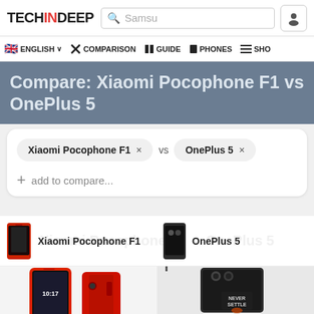TECHINDEEP — Search: Samsu
🇬🇧 ENGLISH ∨   ✕ COMPARISON   ▪ GUIDE   ▪ PHONES   ≡ SHO
Compare: Xiaomi Pocophone F1 vs OnePlus 5
Xiaomi Pocophone F1 × vs OnePlus 5 × + add to compare...
Xiaomi Pocophone F1   OnePlus 5
[Figure (photo): Xiaomi Pocophone F1 in red color shown from front and back angles]
[Figure (photo): OnePlus 5 in dark gray color shown from back angle with 'NEVER SETTLE' text]